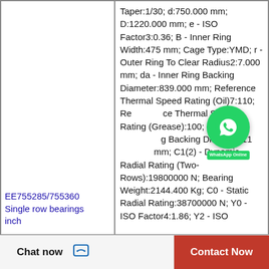EE755285/755360 Single row bearings inch
Taper:1/30; d:750.000 mm; D:1220.000 mm; e - ISO Factor3:0.36; B - Inner Ring Width:475 mm; Cage Type:YMD; r - Outer Ring To Clear Radius2:7.000 mm; da - Inner Ring Backing Diameter:839.000 mm; Reference Thermal Speed Rating (Oil)7:110; Reference Thermal Speed Rating (Grease):100; Da - Outer Ring Backing Diameter:1174.000 mm; C1(2) - Dynamic Radial Rating (Two-Rows):19800000 N; Bearing Weight:2144.400 Kg; C0 - Static Radial Rating:38700000 N; Y0 - ISO Factor4:1.86; Y2 - ISO
[Figure (other): WhatsApp chat button overlay with green circle icon and 'WhatsApp Online' text]
Chat now
Contact Now